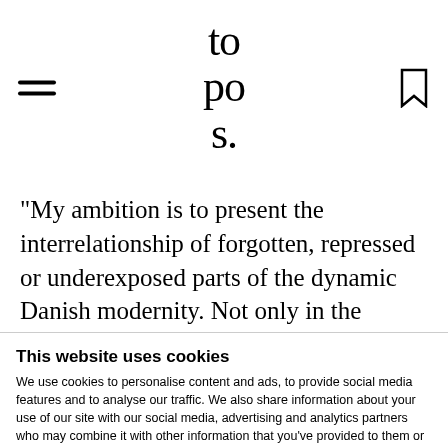topos.
"My ambition is to present the interrelationship of forgotten, repressed or underexposed parts of the dynamic Danish modernity. Not only in the history of architecture, but also in science, art and poetry." states Stig L. Andersson.
This website uses cookies
We use cookies to personalise content and ads, to provide social media features and to analyse our traffic. We also share information about your use of our site with our social media, advertising and analytics partners who may combine it with other information that you've provided to them or that they've collected from your use of their services.